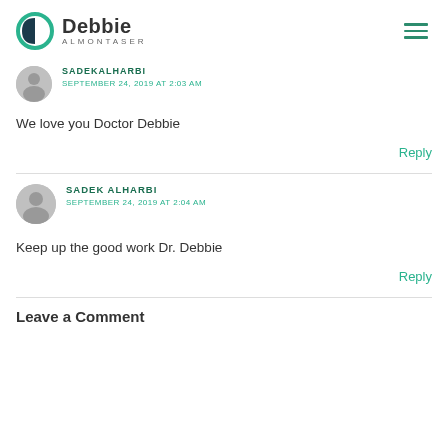Debbie Almontaser
SADEKALHARBI
SEPTEMBER 24, 2019 AT 2:03 AM
We love you Doctor Debbie
Reply
SADEK ALHARBI
SEPTEMBER 24, 2019 AT 2:04 AM
Keep up the good work Dr. Debbie
Reply
Leave a Comment